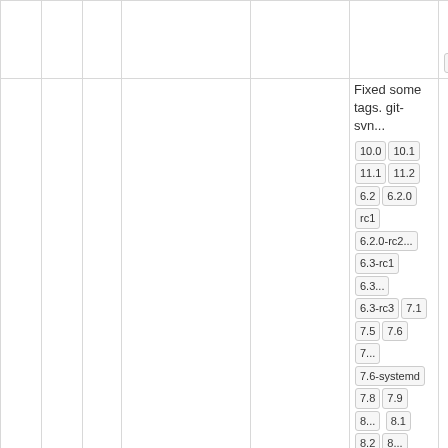|  |  |  | Commit | Age | Author | Tags/Branches |
| --- | --- | --- | --- | --- | --- | --- |
|  |  |  |  |  |  | xry111/intltoo...
xry111/test-2... |
| ○ ○ | ■ | @3ba3f58 ⚙ | 17 years | manuel | Fixed some tags. git-svn...
10.0 10.1
11.1 11.2
6.2 6.2.0
rc1 6.2.0-rc2
6.3-rc1 6.3...
6.3-rc3 7.1
7.5 7.6 7...
7.6-systemd
7.8 7.9 8...
8.1 8.2 8...
8.4 9.0 9...
basic bdub...
elogind gn...
kde5-13430
14269 kde5-...
krejzi/svn k...
nosym per...
modules qt5...
systemd-111...
systemd-134...
trunk upgra...
xry111/intltoo...
xry111/test-2... |
|  |  |  |  |  |  | Typo fix git-s... |